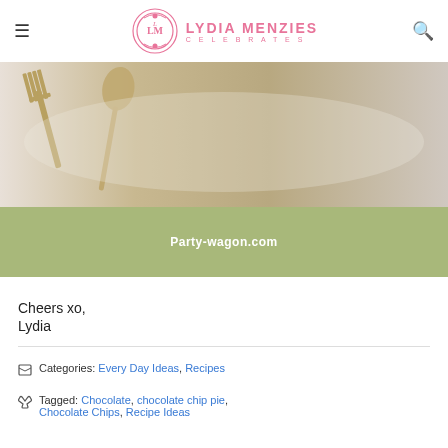LYDIA MENZIES CELEBRATES
[Figure (photo): Close-up photo of vintage silverware (fork and spoon) on a white plate, with a sage green banner overlay reading Party-wagon.com]
Cheers xo,
Lydia
Categories: Every Day Ideas, Recipes
Tagged: Chocolate, chocolate chip pie, Chocolate Chips, Recipe Ideas